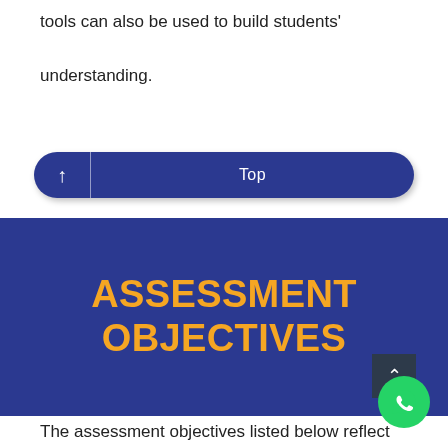tools can also be used to build students' understanding.
[Figure (other): Blue rounded button with up arrow icon and 'Top' label]
ASSESSMENT OBJECTIVES
The assessment objectives listed below reflect those